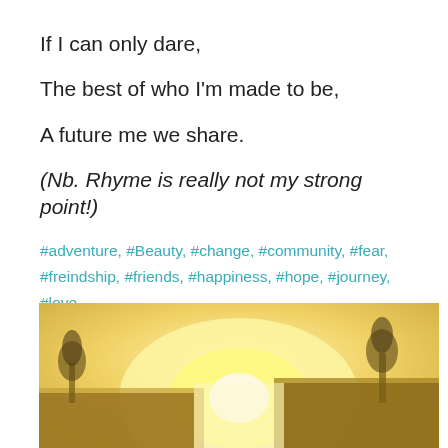If I can only dare,
The best of who I'm made to be,
A future me we share.
(Nb. Rhyme is really not my strong point!)
#adventure, #Beauty, #change, #community, #fear, #freindship, #friends, #happiness, #hope, #journey, #love, #Poetry, #risk, #Spirituality
[Figure (photo): A glowing sunrise or bright light in a gap between two building silhouettes, with trees visible, warm golden/yellow haze]